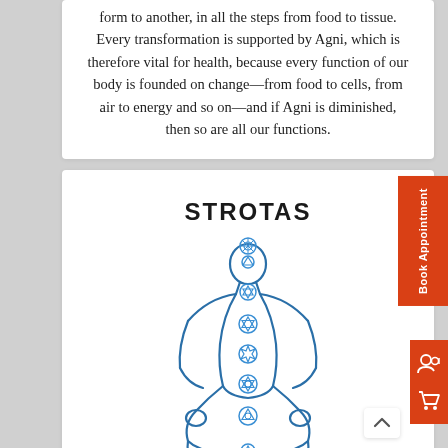form to another, in all the steps from food to tissue. Every transformation is supported by Agni, which is therefore vital for health, because every function of our body is founded on change—from food to cells, from air to energy and so on—and if Agni is diminished, then so are all our functions.
STROTAS
[Figure (illustration): Line drawing of a person in a meditation/lotus pose with chakra symbols along the body's centerline, rendered in blue outline style. Seven chakra symbols are depicted from crown to base.]